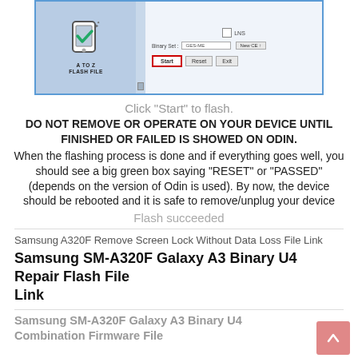[Figure (screenshot): Odin flash tool screenshot showing Start, Reset, Exit buttons with a red border around Start button, and A TO Z FLASH FILE logo on the left.]
Click "Start" to flash.
DO NOT REMOVE OR OPERATE ON YOUR DEVICE UNTIL FINISHED OR FAILED IS SHOWED ON ODIN. When the flashing process is done and if everything goes well, you should see a big green box saying "RESET" or "PASSED" (depends on the version of Odin is used). By now, the device should be rebooted and it is safe to remove/unplug your device
Flash succeeded
Samsung A320F Remove Screen Lock Without Data Loss File Link
Samsung SM-A320F Galaxy A3 Binary U4 Repair Flash File Link
Samsung SM-A320F Galaxy A3 Binary U4 Combination Firmware File